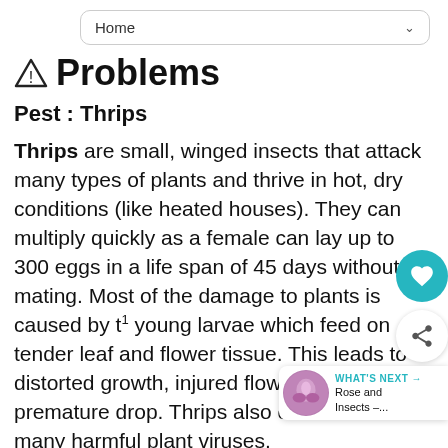Home
⚠ Problems
Pest : Thrips
Thrips are small, winged insects that attack many types of plants and thrive in hot, dry conditions (like heated houses). They can multiply quickly as a female can lay up to 300 eggs in a life span of 45 days without mating. Most of the damage to plants is caused by the young larvae which feed on tender leaf and flower tissue. This leads to distorted growth, injured flower petals and premature drop. Thrips also can transmit many harmful plant viruses.